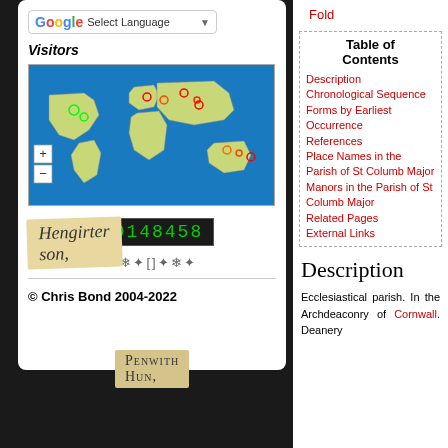[Figure (screenshot): Google Translate language selector widget]
Visitors
[Figure (map): World map showing 456 Pageviews Jul 23rd - Aug 23rd with visitor location markers]
00148458
❄ ✽ ❄
© Chris Bond 2004-2022
Fold
Table of Contents
Description
Chronological Sequence
Forms by Earliest Occurrence
References
Place Names in the Parish of St Columb Major
Manors in the Parish of St Columb Major
Related Pages
External Links
Description
Ecclesiastical parish. In the Archdeaconry of Cornwall. Deanery